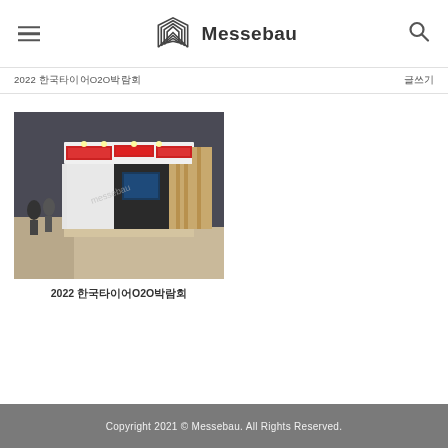Messebau
2022 한국타이어O2O박람회
글쓰기
[Figure (photo): Exhibition booth photo showing a trade show display with Kumho and other brand signage, white booth structure with wooden panels, attendees visible]
2022 한국타이어O2O박람회
Copyright 2021 © Messebau. All Rights Reserved.